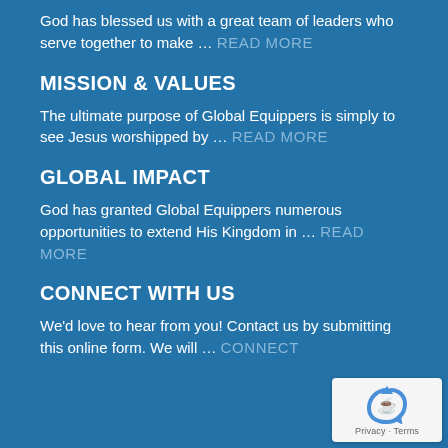God has blessed us with a great team of leaders who serve together to make ... READ MORE
MISSION & VALUES
The ultimate purpose of Global Equippers is simply to see Jesus worshipped by ... READ MORE
GLOBAL IMPACT
God has granted Global Equippers numerous opportunities to extend His Kingdom in ... READ MORE
CONNECT WITH US
We'd love to hear from you! Contact us by submitting this online form. We will ... CONNECT
[Figure (other): reCAPTCHA badge with recycling-arrow icon and Privacy - Terms text]